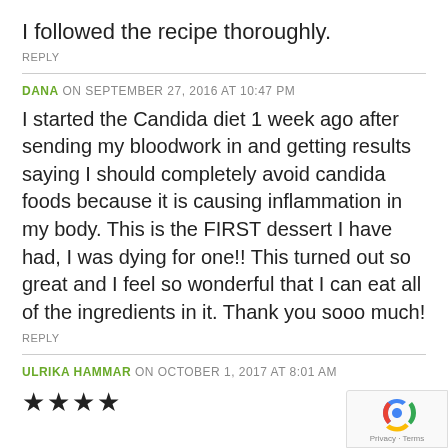I followed the recipe thoroughly.
REPLY
DANA ON SEPTEMBER 27, 2016 AT 10:47 PM
I started the Candida diet 1 week ago after sending my bloodwork in and getting results saying I should completely avoid candida foods because it is causing inflammation in my body. This is the FIRST dessert I have had, I was dying for one!! This turned out so great and I feel so wonderful that I can eat all of the ingredients in it. Thank you sooo much!
REPLY
ULRIKA HAMMAR ON OCTOBER 1, 2017 AT 8:01 AM
★★★★